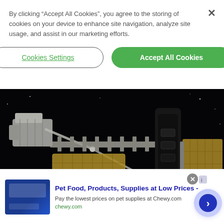By clicking “Accept All Cookies”, you agree to the storing of cookies on your device to enhance site navigation, analyze site usage, and assist in our marketing efforts.
Cookies Settings
Accept All Cookies
[Figure (photo): Photo of the International Space Station in orbit above Earth, with solar panels and robotic arm visible against the darkness of space and the blue curve of Earth below.]
Pet Food, Products, Supplies at Low Prices -
Pay the lowest prices on pet supplies at Chewy.com
chewy.com